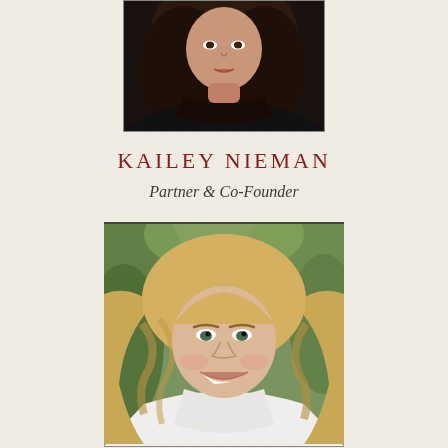[Figure (photo): Partial photo of a woman with dark hair wearing a black top, cropped at top of page]
KAILEY NIEMAN
Partner & Co-Founder
[Figure (photo): Portrait photo of Kailey Nieman, a smiling woman with long blonde wavy hair wearing a white shirt, with green foliage in background]